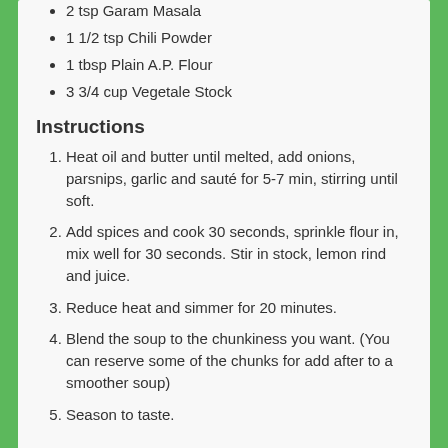2 tsp Garam Masala
1 1/2 tsp Chili Powder
1 tbsp Plain A.P. Flour
3 3/4 cup Vegetale Stock
Instructions
Heat oil and butter until melted, add onions, parsnips, garlic and sauté for 5-7 min, stirring until soft.
Add spices and cook 30 seconds, sprinkle flour in, mix well for 30 seconds. Stir in stock, lemon rind and juice.
Reduce heat and simmer for 20 minutes.
Blend the soup to the chunkiness you want. (You can reserve some of the chunks for add after to a smoother soup)
Season to taste.
Lemon-Scented Broccolini
by MammaT | Mar 11, 2018 | Hot Grub, Recipes, Sides